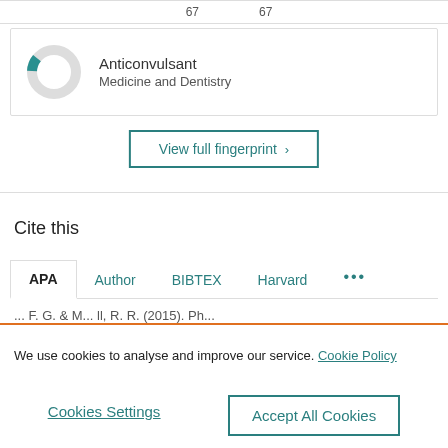[Figure (donut-chart): Small donut chart showing a small teal segment on a gray ring, representing Anticonvulsant in Medicine and Dentistry]
Anticonvulsant
Medicine and Dentistry
View full fingerprint >
Cite this
APA  Author  BIBTEX  Harvard  ...
... F. G. & M... ll, R. R. (2015). Ph...
We use cookies to analyse and improve our service. Cookie Policy
Cookies Settings
Accept All Cookies